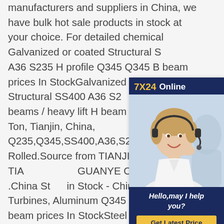manufacturers and suppliers in China, we have bulk hot sale products in stock at your choice. For detailed chemical Galvanized or coated Structural SS400 A36 S235 H profile Q345 Q345 B steel h beam prices In StockGalvanized or coated Structural SS400 A36 S235 H profile beams / heavy lift H beam, 400 - 430 / Ton, Tianjin, China, Q235,Q345,SS400,A36,S235JR, Hot Rolled.Source from TIANJIN TIANGUANYE CO.,LTD on .China Steel in Stock - China Wind Turbines, Aluminum Q345 Q345 B steel h beam prices In StockSteel Angle in Stock. Get Latest Price. Min. Order / Reference FOB Price. 25 Tons. US $580-780/ Ton. Port Shanghai, China. Production Capacity 5000 Tons/ Month. 15000 Tons/ Sea.
[Figure (other): Customer service chat widget with '7X24 Online' header, photo of a woman with a headset smiling, text 'Hello,may I help you?' and a 'Get Latest Price' button]